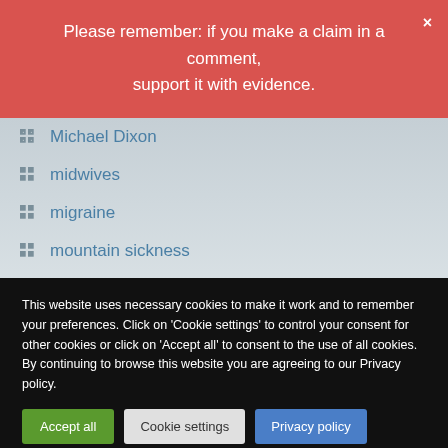Please remember: if you make a claim in a comment, support it with evidence.
Michael Dixon
midwives
migraine
mountain sickness
moxibustion
multiple sclerosis
musculoskeletal problems
naturopathy
nausea
This website uses necessary cookies to make it work and to remember your preferences. Click on 'Cookie settings' to control your consent for other cookies or click on 'Accept all' to consent to the use of all cookies. By continuing to browse this website you are agreeing to our Privacy policy.